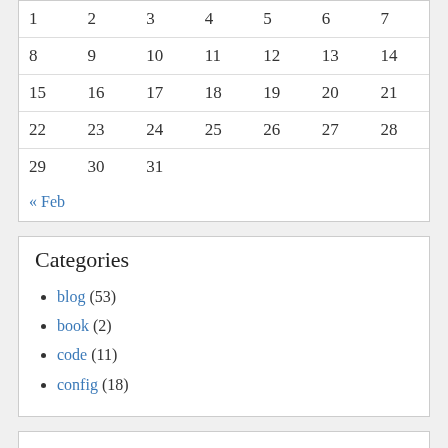| 1 | 2 | 3 | 4 | 5 | 6 | 7 |
| 8 | 9 | 10 | 11 | 12 | 13 | 14 |
| 15 | 16 | 17 | 18 | 19 | 20 | 21 |
| 22 | 23 | 24 | 25 | 26 | 27 | 28 |
| 29 | 30 | 31 |  |  |  |  |
« Feb
Categories
blog (53)
book (2)
code (11)
config (18)
library nerdiness